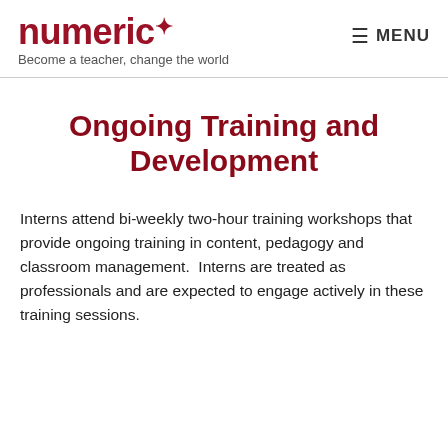numeric* — Become a teacher, change the world | MENU
Ongoing Training and Development
Interns attend bi-weekly two-hour training workshops that provide ongoing training in content, pedagogy and classroom management.  Interns are treated as professionals and are expected to engage actively in these training sessions.